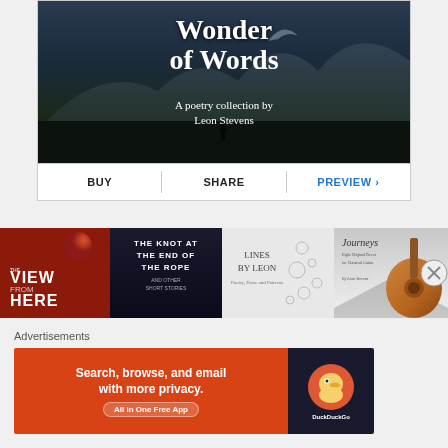[Figure (illustration): Book cover for 'Wonder of Words: A poetry collection by Leon Stevens' — dark moody landscape with mountains and silhouette figure, white serif text]
BUY | SHARE | PREVIEW ›
[Figure (illustration): Row of four related book covers: The View From Here (red sci-fi), The Knot at the End of the Rope (dark space), Lines by Leon (light grey), Journeys (guitar on road)]
Advertisements
[Figure (illustration): DuckDuckGo advertisement banner: 'Search, browse, and email with more privacy. All in One Free App' on orange background with DuckDuckGo logo on dark background]